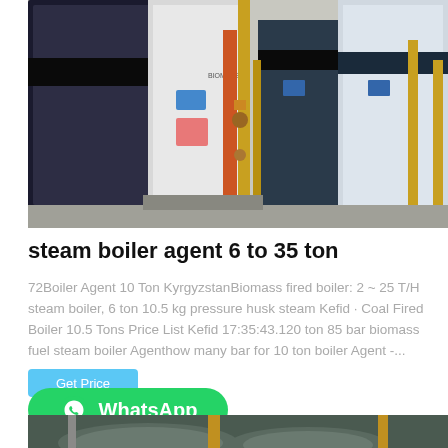[Figure (photo): Industrial steam boilers in a facility — large dark and white boiler units with yellow/orange metal pipes and fittings visible in an indoor industrial setting]
steam boiler agent 6 to 35 ton
72Boiler Agent 10 Ton KyrgyzstanBiomass fired boiler: 2 ~ 25 T/H steam boiler, 6 ton 10.5 kg pressure husk steam Kefid · Coal Fired Boiler 10.5 Tons Price List Kefid 17:35:43.120 ton 85 bar biomass fuel steam boiler Agenthow many bar for 10 ton boiler Agent -...
[Figure (photo): Bottom partial photo of industrial boiler equipment with circular components and pipes visible, green/grey tones]